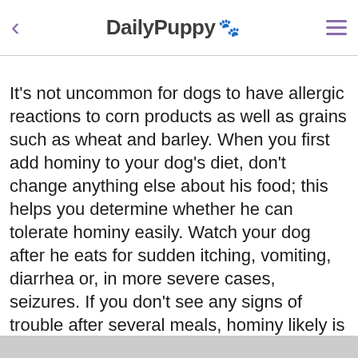DailyPuppy 🐾
It's not uncommon for dogs to have allergic reactions to corn products as well as grains such as wheat and barley. When you first add hominy to your dog's diet, don't change anything else about his food; this helps you determine whether he can tolerate hominy easily. Watch your dog after he eats for sudden itching, vomiting, diarrhea or, in more severe cases, seizures. If you don't see any signs of trouble after several meals, hominy likely is safe for your pooch. Always consult your vet about any food allergy concerns.